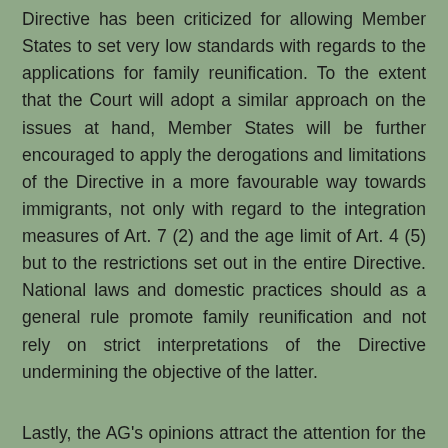Directive has been criticized for allowing Member States to set very low standards with regards to the applications for family reunification. To the extent that the Court will adopt a similar approach on the issues at hand, Member States will be further encouraged to apply the derogations and limitations of the Directive in a more favourable way towards immigrants, not only with regard to the integration measures of Art. 7 (2) and the age limit of Art. 4 (5) but to the restrictions set out in the entire Directive. National laws and domestic practices should as a general rule promote family reunification and not rely on strict interpretations of the Directive undermining the objective of the latter.
Lastly, the AG's opinions attract the attention for the importance that they attach to the individual assessment of the applications. In both cases, Member States should conduct an individual assessment and take other factors into consideration, such as illiteracy in the case of Mrs. Dogan. The same approach should be followed in the provision